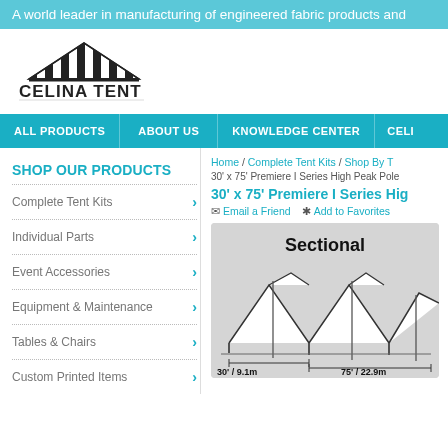A world leader in manufacturing of engineered fabric products and
[Figure (logo): Celina Tent logo with striped tent graphic above text CELINA TENT]
ALL PRODUCTS  ABOUT US  KNOWLEDGE CENTER  CELI...
SHOP OUR PRODUCTS
Complete Tent Kits
Individual Parts
Event Accessories
Equipment & Maintenance
Tables & Chairs
Custom Printed Items
Home / Complete Tent Kits / Shop By T... 30' x 75' Premiere I Series High Peak Pole...
30' x 75' Premiere I Series Hig...
Email a Friend   * Add to Favorites
[Figure (illustration): Technical sectional diagram of a 30' x 75' Premiere I Series High Peak Pole tent showing dimensions: 30'/9.1m width and 75'/22.9m length, with tent peaks and support poles visible]